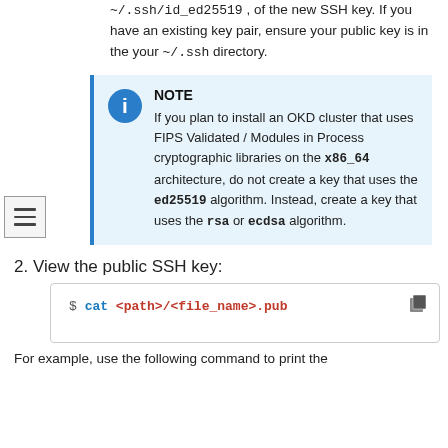~/.ssh/id_ed25519 , of the new SSH key. If you have an existing key pair, ensure your public key is in the your ~/.ssh directory.
NOTE
If you plan to install an OKD cluster that uses FIPS Validated / Modules in Process cryptographic libraries on the x86_64 architecture, do not create a key that uses the ed25519 algorithm. Instead, create a key that uses the rsa or ecdsa algorithm.
2. View the public SSH key:
$ cat <path>/<file_name>.pub
For example, use the following command to print the